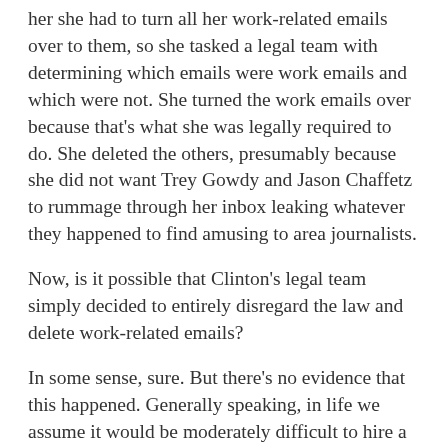her she had to turn all her work-related emails over to them, so she tasked a legal team with determining which emails were work emails and which were not. She turned the work emails over because that's what she was legally required to do. She deleted the others, presumably because she did not want Trey Gowdy and Jason Chaffetz to rummage through her inbox leaking whatever they happened to find amusing to area journalists.
Now, is it possible that Clinton's legal team simply decided to entirely disregard the law and delete work-related emails?
In some sense, sure. But there's no evidence that this happened. Generally speaking, in life we assume it would be moderately difficult to hire a well-known law firm to destroy evidence for you without